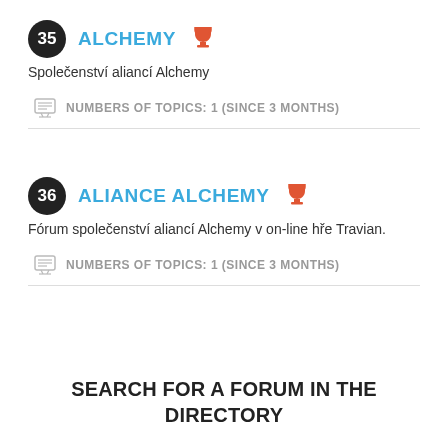35  ALCHEMY
Společenství aliancí Alchemy
NUMBERS OF TOPICS: 1 (SINCE 3 MONTHS)
36  ALIANCE ALCHEMY
Fórum společenství aliancí Alchemy v on-line hře Travian.
NUMBERS OF TOPICS: 1 (SINCE 3 MONTHS)
SEARCH FOR A FORUM IN THE DIRECTORY